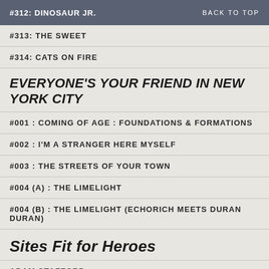#312: DINOSAUR JR.   BACK TO TOP
#313: THE SWEET
#314: CATS ON FIRE
EVERYONE'S YOUR FRIEND IN NEW YORK CITY
#001 : COMING OF AGE : FOUNDATIONS & FORMATIONS
#002 : I'M A STRANGER HERE MYSELF
#003 : THE STREETS OF YOUR TOWN
#004 (a) : THE LIMELIGHT
#004 (b) : THE LIMELIGHT (Echorich meets Duran Duran)
Sites Fit for Heroes
ADAM STAFFORD